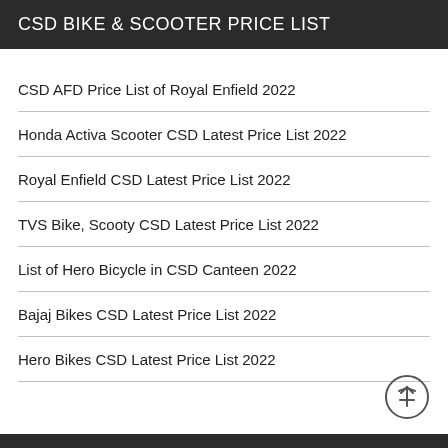CSD BIKE & SCOOTER PRICE LIST
CSD AFD Price List of Royal Enfield 2022
Honda Activa Scooter CSD Latest Price List 2022
Royal Enfield CSD Latest Price List 2022
TVS Bike, Scooty CSD Latest Price List 2022
List of Hero Bicycle in CSD Canteen 2022
Bajaj Bikes CSD Latest Price List 2022
Hero Bikes CSD Latest Price List 2022